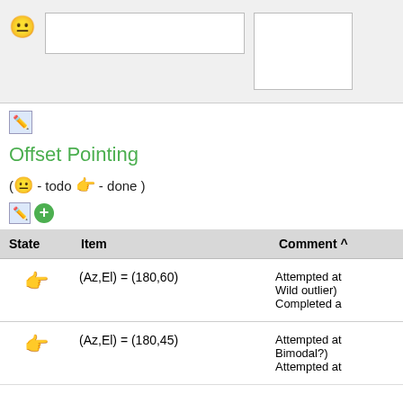[Figure (screenshot): UI row with a neutral face emoji icon, a text input box, and a textarea box on a grey background]
[Figure (screenshot): Small edit/pencil icon button]
Offset Pointing
( 😐 - todo 👉 - done )
[Figure (screenshot): Edit pencil icon and green plus icon buttons]
| State | Item | Comment ^ |
| --- | --- | --- |
| 👉 | (Az,El) = (180,60) | Attempted at... Wild outlier) Completed a |
| 👉 | (Az,El) = (180,45) | Attempted at... Bimodal?) Attempted at |